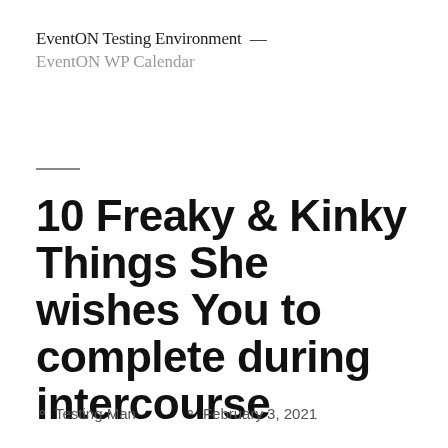EventON Testing Environment — EventON WP Calendar
10 Freaky & Kinky Things She wishes You to complete during intercourse
Testing Man   February 3, 2021